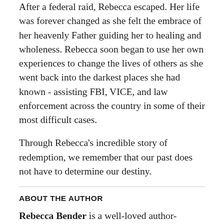After a federal raid, Rebecca escaped. Her life was forever changed as she felt the embrace of her heavenly Father guiding her to healing and wholeness. Rebecca soon began to use her own experiences to change the lives of others as she went back into the darkest places she had known - assisting FBI, VICE, and law enforcement across the country in some of their most difficult cases.
Through Rebecca's incredible story of redemption, we remember that our past does not have to determine our destiny.
ABOUT THE AUTHOR
Rebecca Bender is a well-loved author-illustrator of children's books as well as an art director and designer. Her picture books include Not Friends, Don't Laugh at Giraffe, Giraffe Meets Bird, Peach Girl